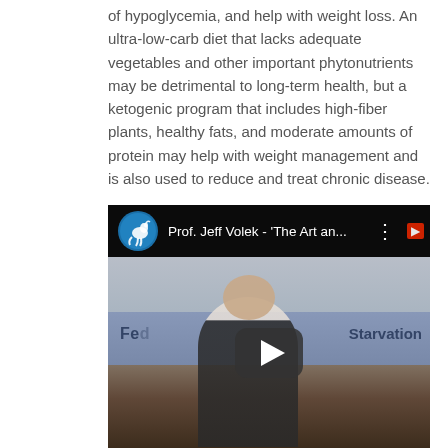of hypoglycemia, and help with weight loss. An ultra-low-carb diet that lacks adequate vegetables and other important phytonutrients may be detrimental to long-term health, but a ketogenic program that includes high-fiber plants, healthy fats, and moderate amounts of protein may help with weight management and is also used to reduce and treat chronic disease.
[Figure (screenshot): Embedded YouTube video thumbnail showing Prof. Jeff Volek - 'The Art an...' with a kangaroo logo, a man speaking at a podium with a presentation slide showing 'Fed' and 'Starvation', and a play button overlay.]